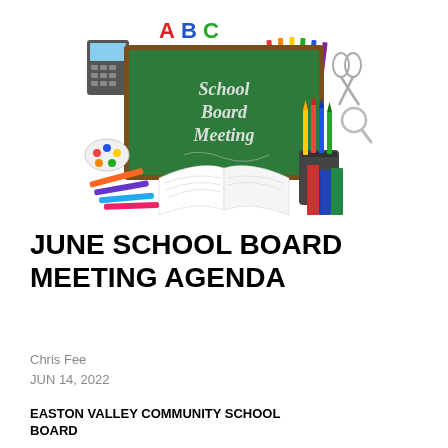[Figure (illustration): Colorful school board meeting illustration featuring a green chalkboard with 'School Board Meeting' written on it in chalk-style font, surrounded by school supplies including colored pencils in a holder, books, scissors, a calculator, and ABC letter decorations on top.]
JUNE SCHOOL BOARD MEETING AGENDA
Chris Fee
JUN 14, 2022
EASTON VALLEY COMMUNITY SCHOOL BOARD